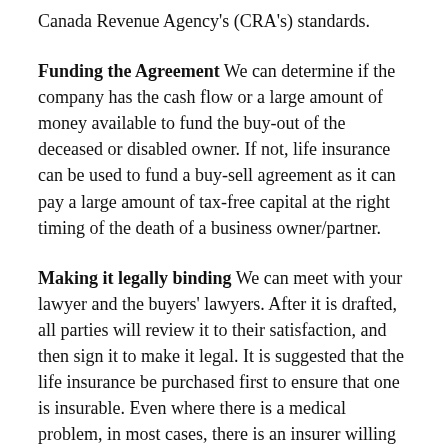Canada Revenue Agency's (CRA's) standards.
Funding the Agreement We can determine if the company has the cash flow or a large amount of money available to fund the buy-out of the deceased or disabled owner. If not, life insurance can be used to fund a buy-sell agreement as it can pay a large amount of tax-free capital at the right timing of the death of a business owner/partner.
Making it legally binding We can meet with your lawyer and the buyers' lawyers. After it is drafted, all parties will review it to their satisfaction, and then sign it to make it legal. It is suggested that the life insurance be purchased first to ensure that one is insurable. Even where there is a medical problem, in most cases, there is an insurer willing to design a policy to suit the risk, based on the respective health of the individual.